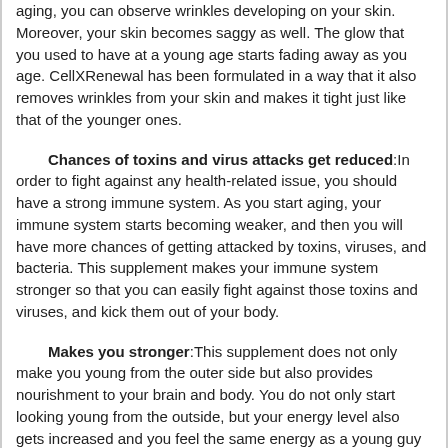aging, you can observe wrinkles developing on your skin. Moreover, your skin becomes saggy as well. The glow that you used to have at a young age starts fading away as you age. CellXRenewal has been formulated in a way that it also removes wrinkles from your skin and makes it tight just like that of the younger ones.
Chances of toxins and virus attacks get reduced:In order to fight against any health-related issue, you should have a strong immune system. As you start aging, your immune system starts becoming weaker, and then you will have more chances of getting attacked by toxins, viruses, and bacteria. This supplement makes your immune system stronger so that you can easily fight against those toxins and viruses, and kick them out of your body.
Makes you stronger:This supplement does not only make you young from the outer side but also provides nourishment to your brain and body. You do not only start looking young from the outside, but your energy level also gets increased and you feel the same energy as a young guy feels. You will not get tired too much as it makes you stronger and healthier.